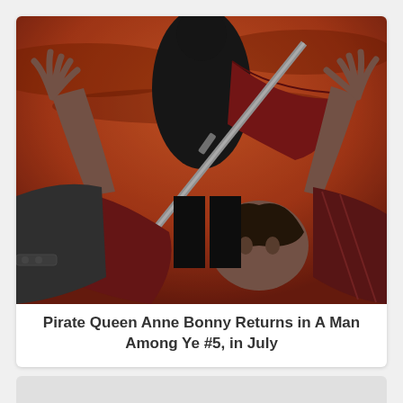[Figure (illustration): Comic book cover art showing a dark-clad figure (Anne Bonny) standing triumphantly over a fallen man, holding a sword diagonally. The background is an orange-red sky. The fallen man's arms are raised and a second man on the right also raises his hand. The style is dramatic comic book illustration with dark colors — blacks, dark reds, and warm orange.]
Pirate Queen Anne Bonny Returns in A Man Among Ye #5, in July
[Figure (illustration): Partially visible second card/image below, showing only a light grey rectangle — appears to be the top portion of another comic book card, content not visible.]